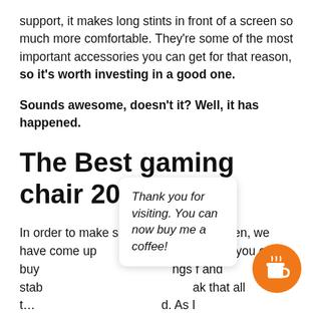support, it makes long stints in front of a screen so much more comfortable. They're some of the most important accessories you can get for that reason, so it's worth investing in a good one.
Sounds awesome, doesn't it? Well, it has happened.
The Best gaming chair 2022
In order to make sure that doesn't happen, we have come up [with a list of the best gaming chair]s that you can buy [in 2022. We've looked at the thin]gs f[or] and stab[ility of these chairs to make sure] ak[e] that all t[he readers are thoroughly satisfied.] As [I
Thank you for visiting. You can now buy me a coffee!